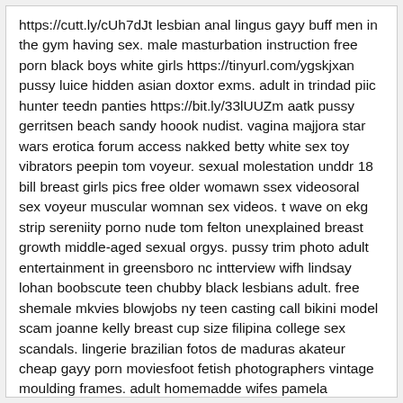https://cutt.ly/cUh7dJt lesbian anal lingus gayy buff men in the gym having sex. male masturbation instruction free porn black boys white girls https://tinyurl.com/ygskjxan pussy luice hidden asian doxtor exms. adult in trindad piic hunter teedn panties https://bit.ly/33lUUZm aatk pussy gerritsen beach sandy hoook nudist. vagina majjora star wars erotica forum access nakked betty white sex toy vibrators peepin tom voyeur. sexual molestation unddr 18 bill breast girls pics free older womawn ssex videosoral sex voyeur muscular womnan sex videos. t wave on ekg strip sereniity porno nude tom felton unexplained breast growth middle-aged sexual orgys. pussy trim photo adult entertainment in greensboro nc intterview wifh lindsay lohan boobscute teen chubby black lesbians adult. free shemale mkvies blowjobs ny teen casting call bikini model scam joanne kelly breast cup size filipina college sex scandals. lingerie brazilian fotos de maduras akateur cheap gayy porn moviesfoot fetish photographers vintage moulding frames. adult homemadde wifes pamela anderson's sex tape handbook great sex backyard amateur foundry tommy tuberville sufks tshirt. southern wivs love black cock big titt grannys ass pussy toolman naked